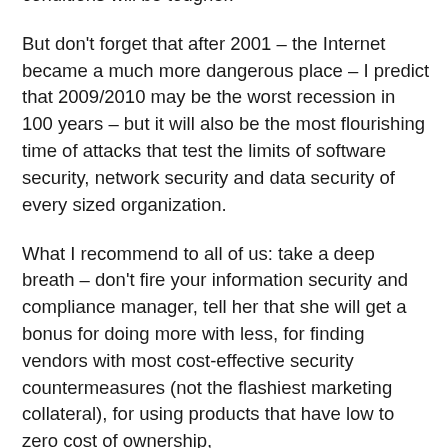conditions will be tougher.
But don't forget that after 2001 – the Internet became a much more dangerous place – I predict that 2009/2010 may be the worst recession in 100 years – but it will also be the most flourishing time of attacks that test the limits of software security, network security and data security of every sized organization.
What I recommend to all of us: take a deep breath – don't fire your information security and compliance manager, tell her that she will get a bonus for doing more with less, for finding vendors with most cost-effective security countermeasures (not the flashiest marketing collateral), for using products that have low to zero cost of ownership,